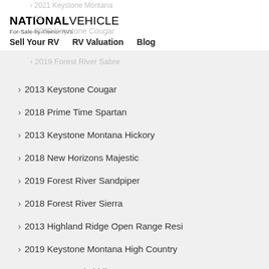NATIONAL VEHICLE For-Sale-by-Owner RVs | Sell Your RV | RV Valuation | Blog
2021 Keystone Montana
2020 Keystone Cougar
2019 Forest River Sabre
2013 Keystone Cougar
2018 Prime Time Spartan
2013 Keystone Montana Hickory
2018 New Horizons Majestic
2019 Forest River Sandpiper
2018 Forest River Sierra
2013 Highland Ridge Open Range Resi
2019 Keystone Montana High Country
2011 Nu-Wa Hitchhiker LS
2013 Keystone Cougar X-Lite